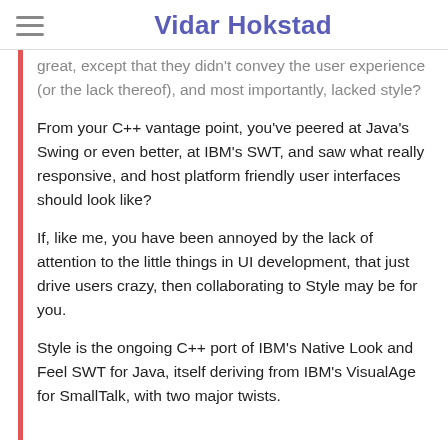Vidar Hokstad
great, except that they didn't convey the user experience (or the lack thereof), and most importantly, lacked style?
From your C++ vantage point, you've peered at Java's Swing or even better, at IBM's SWT, and saw what really responsive, and host platform friendly user interfaces should look like?
If, like me, you have been annoyed by the lack of attention to the little things in UI development, that just drive users crazy, then collaborating to Style may be for you.
Style is the ongoing C++ port of IBM's Native Look and Feel SWT for Java, itself deriving from IBM's VisualAge for SmallTalk, with two major twists.